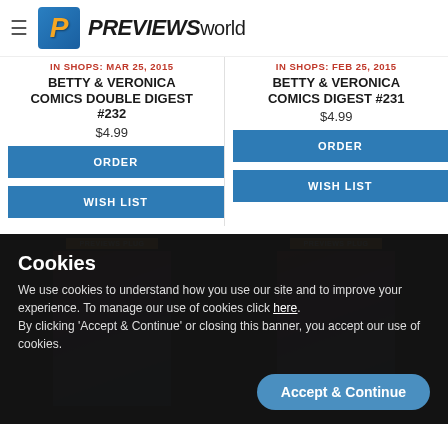PREVIEWS world
IN SHOPS: MAR 25, 2015
BETTY & VERONICA COMICS DOUBLE DIGEST #232
$4.99
IN SHOPS: FEB 25, 2015
BETTY & VERONICA COMICS DIGEST #231
$4.99
Cookies
We use cookies to understand how you use our site and to improve your experience. To manage our use of cookies click here.
By clicking 'Accept & Continue' or closing this banner, you accept our use of cookies.